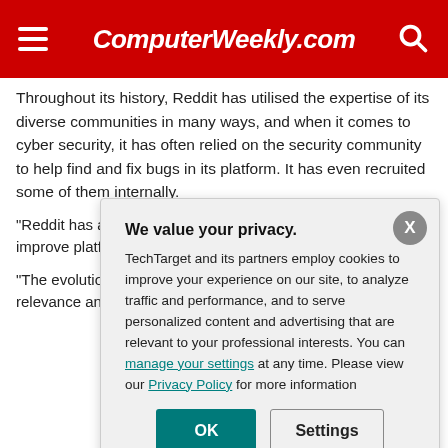ComputerWeekly.com
Throughout its history, Reddit has utilised the expertise of its diverse communities in many ways, and when it comes to cyber security, it has often relied on the security community to help find and fix bugs in its platform. It has even recruited some of them internally.
“Reddit has always relied on the community to help find and fix bugs… that’s how we’ve… improve platform… security professi…
“The evolution o… in 2018 when we… programme. As … relevance and fe… programme alon…
[Figure (screenshot): Privacy consent modal dialog with title 'We value your privacy.' containing text about TechTarget cookies policy, links to manage settings and Privacy Policy, and OK and Settings buttons.]